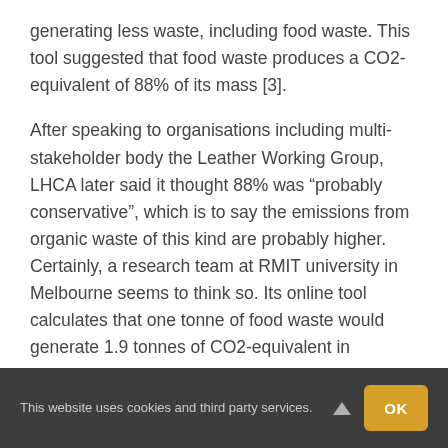generating less waste, including food waste. This tool suggested that food waste produces a CO2-equivalent of 88% of its mass [3].
After speaking to organisations including multi-stakeholder body the Leather Working Group, LHCA later said it thought 88% was “probably conservative”, which is to say the emissions from organic waste of this kind are probably higher. Certainly, a research team at RMIT university in Melbourne seems to think so. Its online tool calculates that one tonne of food waste would generate 1.9 tonnes of CO2-equivalent in emissions,
This website uses cookies and third party services.